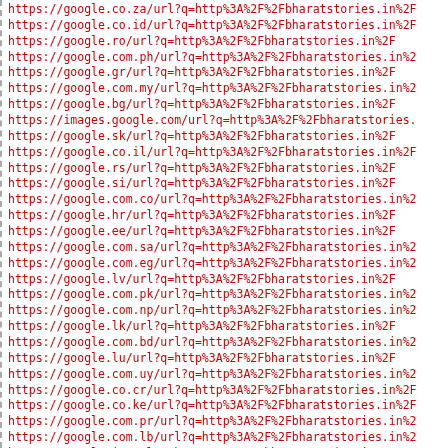https://google.co.za/url?q=http%3A%2F%2Fbharatstories.in%2F
https://google.co.id/url?q=http%3A%2F%2Fbharatstories.in%2F
https://google.ro/url?q=http%3A%2F%2Fbharatstories.in%2F
https://google.com.ph/url?q=http%3A%2F%2Fbharatstories.in%2F
https://google.gr/url?q=http%3A%2F%2Fbharatstories.in%2F
https://google.com.my/url?q=http%3A%2F%2Fbharatstories.in%2F
https://google.bg/url?q=http%3A%2F%2Fbharatstories.in%2F
https://images.google.com/url?q=http%3A%2F%2Fbharatstories.
https://google.sk/url?q=http%3A%2F%2Fbharatstories.in%2F
https://google.co.il/url?q=http%3A%2F%2Fbharatstories.in%2F
https://google.rs/url?q=http%3A%2F%2Fbharatstories.in%2F
https://google.si/url?q=http%3A%2F%2Fbharatstories.in%2F
https://google.com.co/url?q=http%3A%2F%2Fbharatstories.in%2F
https://google.hr/url?q=http%3A%2F%2Fbharatstories.in%2F
https://google.ee/url?q=http%3A%2F%2Fbharatstories.in%2F
https://google.com.sa/url?q=http%3A%2F%2Fbharatstories.in%2F
https://google.com.eg/url?q=http%3A%2F%2Fbharatstories.in%2F
https://google.lv/url?q=http%3A%2F%2Fbharatstories.in%2F
https://google.com.pk/url?q=http%3A%2F%2Fbharatstories.in%2F
https://google.com.np/url?q=http%3A%2F%2Fbharatstories.in%2F
https://google.lk/url?q=http%3A%2F%2Fbharatstories.in%2F
https://google.com.bd/url?q=http%3A%2F%2Fbharatstories.in%2F
https://google.lu/url?q=http%3A%2F%2Fbharatstories.in%2F
https://google.com.uy/url?q=http%3A%2F%2Fbharatstories.in%2F
https://google.co.cr/url?q=http%3A%2F%2Fbharatstories.in%2F
https://google.co.ke/url?q=http%3A%2F%2Fbharatstories.in%2F
https://google.com.pr/url?q=http%3A%2F%2Fbharatstories.in%2F
https://google.com.lb/url?q=http%3A%2F%2Fbharatstories.in%2F
https://google.is/url?q=http%3A%2F%2Fbharatstories.in%2F